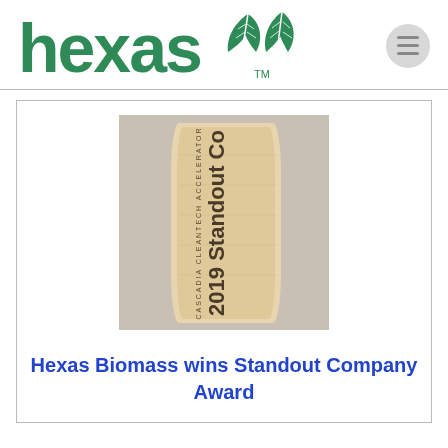[Figure (logo): Hexas Biomass logo with green text 'hexas' and two leaf icons, with TM mark]
[Figure (photo): Wooden award plaque engraved with '2019 Standout Company' and 'Cascadia Cleantech Accelerator']
Hexas Biomass wins Standout Company Award